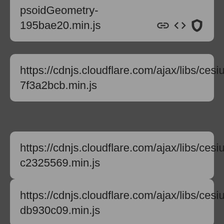https://cdnjs.cloudflare.com/ajax/libs/cesium/1.94.2/Workers/EllipsoidGeometry-195bae20.min.js
https://cdnjs.cloudflare.com/ajax/libs/cesium/1.94.2/Workers/EllipsoidOutlineGeometry-7f3a2bcb.min.js
https://cdnjs.cloudflare.com/ajax/libs/cesium/1.94.2/Workers/EllipsoidRhumbLine-c2325569.min.js
https://cdnjs.cloudflare.com/ajax/libs/cesium/1.94.2/Workers/EllipsoidTangentPlane-db930c09.min.js